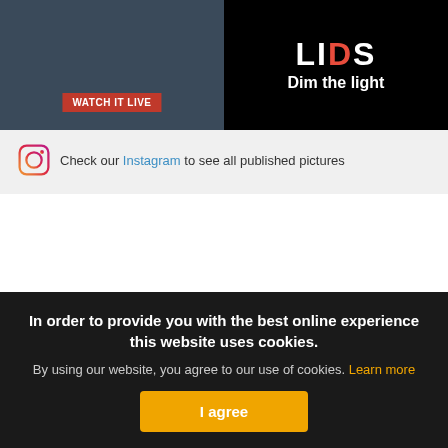[Figure (screenshot): Banner image showing a dark outdoor scene on the left with a red 'WATCH IT LIVE' label, and a black panel on the right with 'LIDS' logo text and 'Dim the light' tagline]
Check our Instagram to see all published pictures
In order to provide you with the best online experience this website uses cookies.
By using our website, you agree to our use of cookies. Learn more
I agree